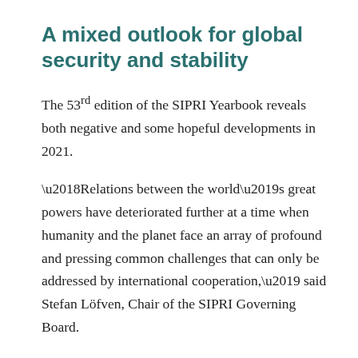A mixed outlook for global security and stability
The 53rd edition of the SIPRI Yearbook reveals both negative and some hopeful developments in 2021.
‘Relations between the world’s great powers have deteriorated further at a time when humanity and the planet face an array of profound and pressing common challenges that can only be addressed by international cooperation,’ said Stefan Löfven, Chair of the SIPRI Governing Board.
In addition to its detailed coverage of nuclear arms control and non-proliferation issues, the latest edition of the SIPRI Yearbook includes insight on developments in conventional arms control in 2021; regional overviews